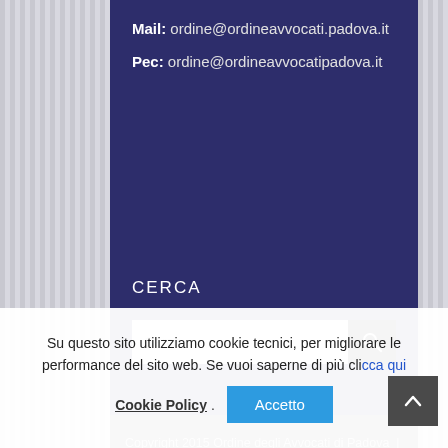Mail: ordine@ordineavvocati.padova.it
Pec: ordine@ordineavvocatipadova.it
CERCA
[Figure (screenshot): Search input field with placeholder 'Cerca ...' and a black search button with magnifying glass icon]
Copyright 2015 Ordine degli Avvocati di Padova | All Rights Reserved
Powered by Niccolò Mamprin | Marco Petrazzi | Federico Trapassi
Su questo sito utilizziamo cookie tecnici, per migliorare le performance del sito web. Se vuoi saperne di più clicca qui
Cookie Policy. Accetto